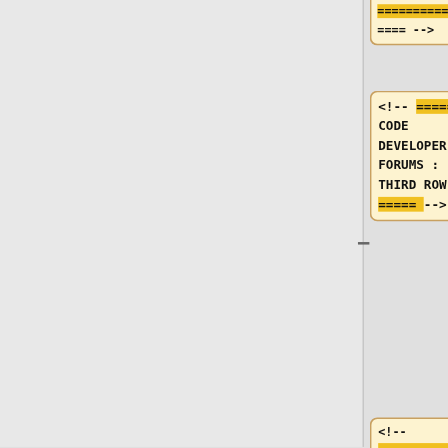[Figure (screenshot): A diff/comparison view showing code boxes on the left column with yellow/cream background containing wiki markup comments and equals signs, and blue boxes on the right column containing wiki table attribute strings. Shows three rows of code comparisons with minus and plus signs indicating diff operations. Content includes: Row 1 (partial): code box with '============= ==== -->' and right box with '!width="200px" bgcolor="#CCCCCC"|Item'. Row 2: code box with '<!-- ===== CODE DEVELOPER'S FORUMS : THIRD ROW ===== -->' and right box '!width="200px" bgcolor="#CCCCCC"|Item'. Row 3: code box with '<!-- ============= ============= ============= ============= ==== -->' and right box '!width="360px" bgcolor="#CCCCCC"|Link'. Plus a fourth right box '!width="365px" bgcolor="#CCCCCC"|Description'. Bottom rows show empty boxes and '<!-- Header title' / '|-valign="top"'.]